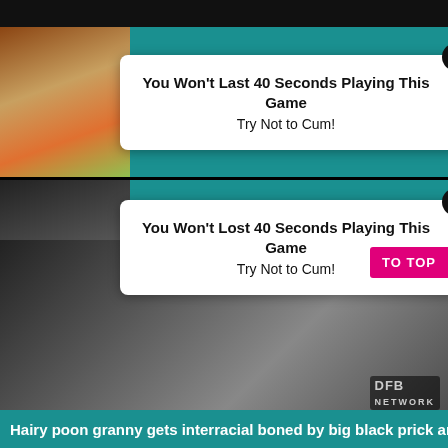[Figure (screenshot): Adult website screenshot with two popup advertisements and explicit content thumbnail images. Top strip shows dark background with partial explicit image. Two white popup ad boxes appear over teal-background content strips with thumbnail images. Bottom half shows large explicit photograph with DFB Network watermark. Pink 'TO TOP' button on right side. Teal caption bar at bottom.]
You Won't Last 40 Seconds Playing This Game
Try Not to Cum!
You Won't Lost 40 Seconds Playing This Game
Try Not to Cum!
TO TOP
Hairy poon granny gets interracial boned by big black prick and